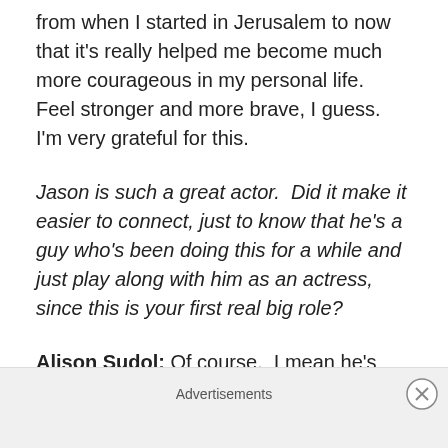from when I started in Jerusalem to now that it's really helped me become much more courageous in my personal life.  Feel stronger and more brave, I guess.  I'm very grateful for this.
Jason is such a great actor.  Did it make it easier to connect, just to know that he's a guy who's been doing this for a while and just play along with him as an actress, since this is your first real big role?
Alison Sudol: Of course.  I mean he's been so generous with me.  So supportive, and patient.   He's really given me a lot of confidence and allowed me to have my learning curve.  Never gets annoyed with me.  Is always cheerful,
Advertisements